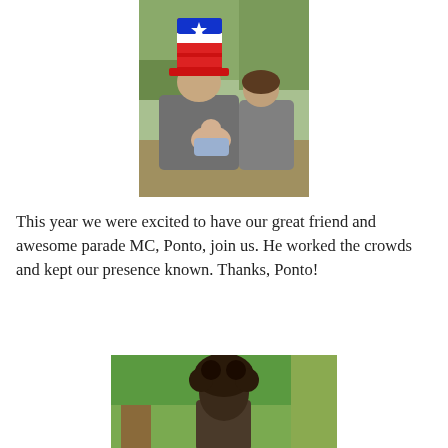[Figure (photo): Two children sitting outdoors. The boy wears a patriotic red, white and blue tall hat and holds a baby. A girl sits beside them. Trees visible in background.]
This year we were excited to have our great friend and awesome parade MC, Ponto, join us. He worked the crowds and kept our presence known. Thanks, Ponto!
[Figure (photo): Person with curly dark hair standing outdoors near a tree with green foliage in the background.]